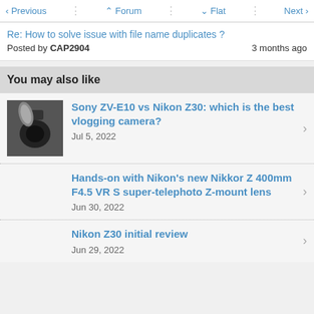< Previous   ^ Forum   v Flat   Next >
Re: How to solve issue with file name duplicates ?
Posted by CAP2904	3 months ago
You may also like
Sony ZV-E10 vs Nikon Z30: which is the best vlogging camera?
Jul 5, 2022
Hands-on with Nikon's new Nikkor Z 400mm F4.5 VR S super-telephoto Z-mount lens
Jun 30, 2022
Nikon Z30 initial review
Jun 29, 2022